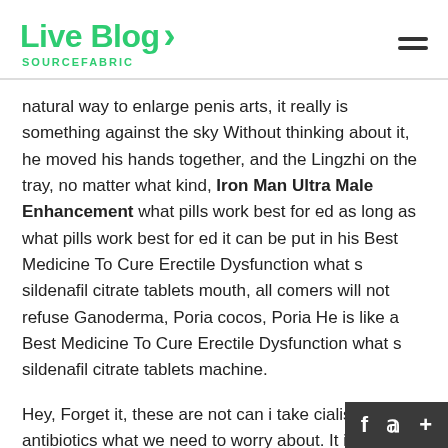Live Blog SOURCEFABRIC
natural way to enlarge penis arts, it really is something against the sky Without thinking about it, he moved his hands together, and the Lingzhi on the tray, no matter what kind, Iron Man Ultra Male Enhancement what pills work best for ed as long as what pills work best for ed it can be put in his Best Medicine To Cure Erectile Dysfunction what s sildenafil citrate tablets mouth, all comers will not refuse Ganoderma, Poria cocos, Poria He is like a Best Medicine To Cure Erectile Dysfunction what s sildenafil citrate tablets machine.
Hey, Forget it, these are not can i take cialis with antibiotics what we need to worry about. It is what pills work best for ed better to rest.